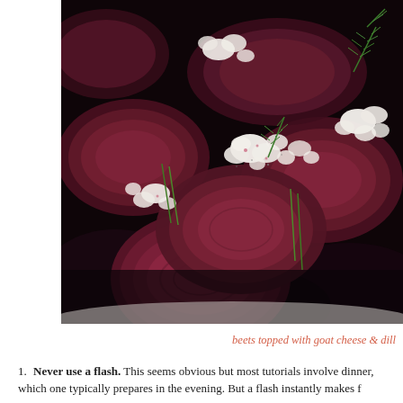[Figure (photo): Close-up photo of roasted beet slices topped with crumbled goat cheese, fresh dill, and chives on a white plate.]
beets topped with goat cheese & dill
Never use a flash. This seems obvious but most tutorials involve dinner, which one typically prepares in the evening. But a flash instantly makes f